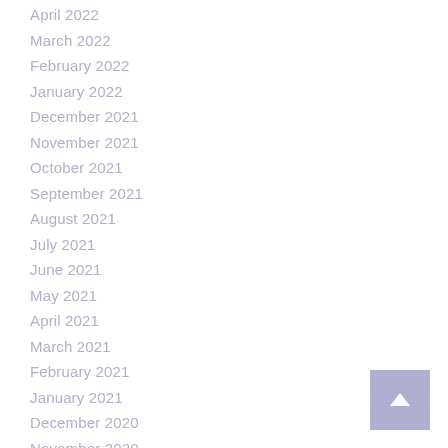April 2022
March 2022
February 2022
January 2022
December 2021
November 2021
October 2021
September 2021
August 2021
July 2021
June 2021
May 2021
April 2021
March 2021
February 2021
January 2021
December 2020
November 2020
September 2020
April 2020
February 2020